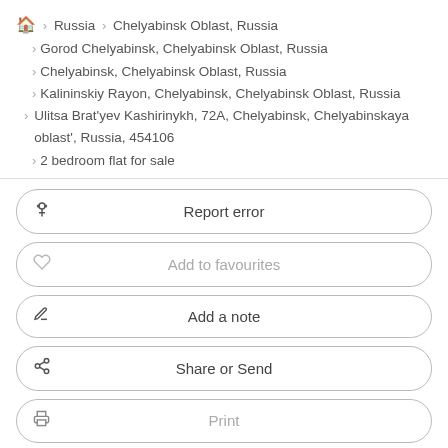🏠 › Russia › Chelyabinsk Oblast, Russia
› Gorod Chelyabinsk, Chelyabinsk Oblast, Russia
› Chelyabinsk, Chelyabinsk Oblast, Russia
› Kalininskiy Rayon, Chelyabinsk, Chelyabinsk Oblast, Russia
› Ulitsa Brat'yev Kashirinykh, 72A, Chelyabinsk, Chelyabinskaya oblast', Russia, 454106
› 2 bedroom flat for sale
Report error
Add to favourites
Add a note
Share or Send
Print
Basic information
✕ - Total area : 57 m²